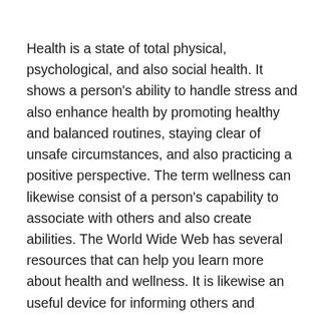Health is a state of total physical, psychological, and also social health. It shows a person's ability to handle stress and also enhance health by promoting healthy and balanced routines, staying clear of unsafe circumstances, and also practicing a positive perspective. The term wellness can likewise consist of a person's capability to associate with others and also create abilities. The World Wide Web has several resources that can help you learn more about health and wellness. It is likewise an useful device for informing others and determining what their health objectives are.
There are several factors that can result in bad